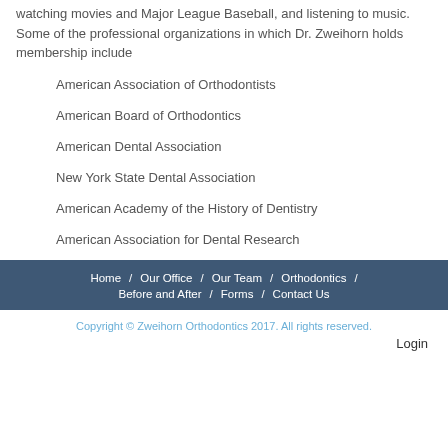watching movies and Major League Baseball, and listening to music. Some of the professional organizations in which Dr. Zweihorn holds membership include
American Association of Orthodontists
American Board of Orthodontics
American Dental Association
New York State Dental Association
American Academy of the History of Dentistry
American Association for Dental Research
Home / Our Office / Our Team / Orthodontics / Before and After / Forms / Contact Us
Copyright © Zweihorn Orthodontics 2017. All rights reserved.
Login